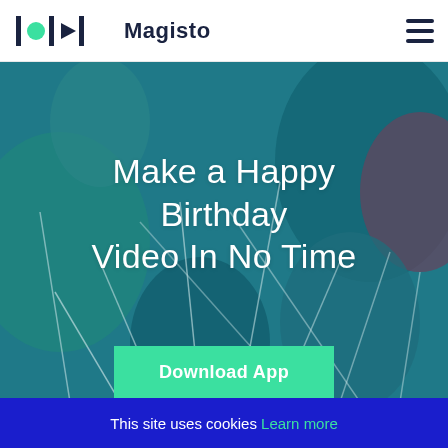Magisto
[Figure (screenshot): Hero background image of colorful balloons with teal/blue color overlay, showing balloon strings.]
Make a Happy Birthday Video In No Time
Download App
This site uses cookies Learn more